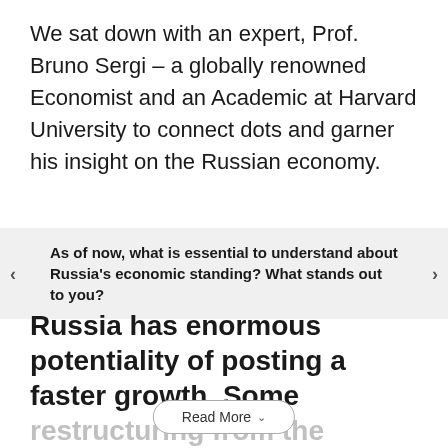We sat down with an expert, Prof. Bruno Sergi – a globally renowned Economist and an Academic at Harvard University to connect dots and garner his insight on the Russian economy.
As of now, what is essential to understand about Russia's economic standing? What stands out to you?
Russia has enormous potentiality of posting a faster growth. Some restructuring from the
Read More